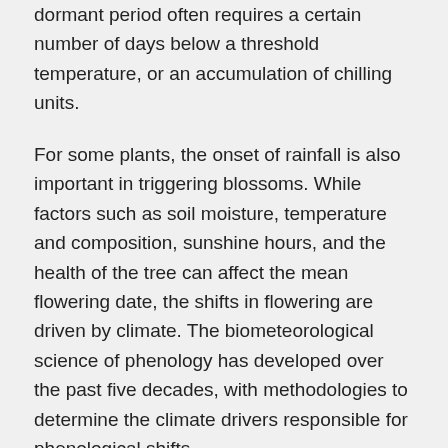dormant period often requires a certain number of days below a threshold temperature, or an accumulation of chilling units.
For some plants, the onset of rainfall is also important in triggering blossoms. While factors such as soil moisture, temperature and composition, sunshine hours, and the health of the tree can affect the mean flowering date, the shifts in flowering are driven by climate. The biometeorological science of phenology has developed over the past five decades, with methodologies to determine the climate drivers responsible for phenological shifts.
The strongest climatic driver of the phenological advance of jacaranda blossoms in the Gauteng city region was found to be daily maximum temperatures during the month of June – falling within the dormant period of the